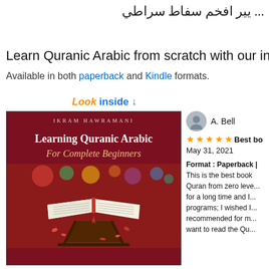... يير افخم سفاط سراطي
Learn Quranic Arabic from scratch with our innovative b
Available in both paperback and Kindle formats.
[Figure (screenshot): Book cover for 'Learning Quranic Arabic For Complete Beginners' by Ikram Hawramani, dark red background with image of open Quran on stand]
Look inside ↓
A. Bell
★★★★★ Best bo
May 31, 2021
Format : Paperback | This is the best book to learn the Quran from zero leve... for a long time and I... programs; I wished I... recommended for m... want to read the Qu...